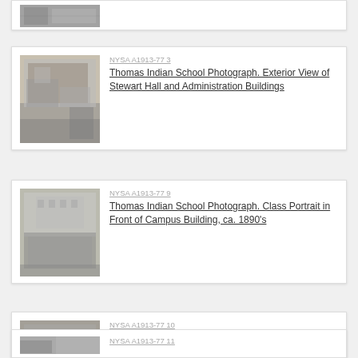[Figure (photo): Partial black and white historical photo (top of page, card cut off)]
[Figure (photo): Black and white photograph of exterior view of Stewart Hall and Administration Buildings at Thomas Indian School]
NYSA A1913-77 3
Thomas Indian School Photograph. Exterior View of Stewart Hall and Administration Buildings
[Figure (photo): Black and white class portrait photograph in front of campus building, ca. 1890s, Thomas Indian School]
NYSA A1913-77 9
Thomas Indian School Photograph. Class Portrait in Front of Campus Building, ca. 1890's
[Figure (photo): Black and white photograph of boys in woodworking class at Thomas Indian School]
NYSA A1913-77 10
Thomas Indian School Photograph. Boys in Woodworking Class
NYSA A1913-77 11